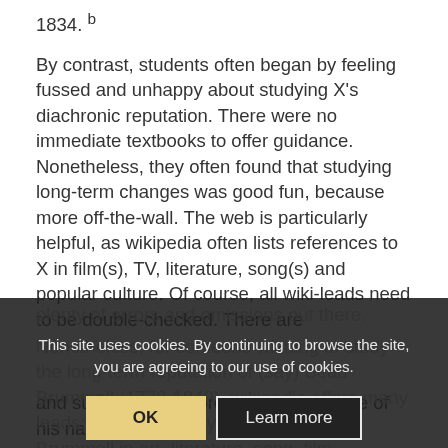1834. b
By contrast, students often began by feeling fussed and unhappy about studying X's diachronic reputation. There were no immediate textbooks to offer guidance. Nonetheless, they often found that studying long-term changes was good fun, because more off-the-wall. The web is particularly helpful, as wikipedia often lists references to X in film(s), TV, literature, song(s) and popular culture. Of course, all wiki-leads need to be double-checked. There are plenty of errors and omissions out there.
Nonetheless, for someone wishing to study the long-term reputation of (say) Beau Brummell (1778-1840), wikipedia offers many leads; providing many references to Brummell in art, literature, song, film, and sundry stylistic products making use of his name,
This site uses cookies. By continuing to browse the site, you are agreeing to our use of cookies.